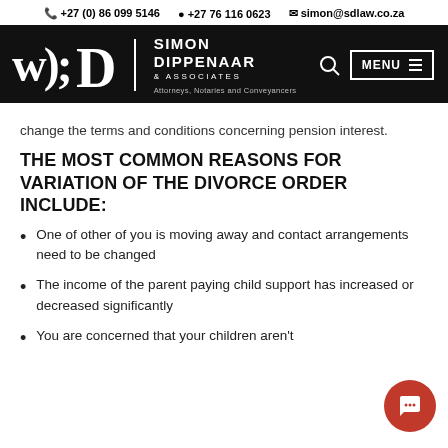+27 (0) 86 099 5146  +27 76 116 0623  simon@sdlaw.co.za
[Figure (logo): Simon Dippenaar & Associates logo — white text on black background, with stylized D lettermark. Attorneys, Notaries and Conveyancers. Navigation bar with search icon and MENU button.]
change the terms and conditions concerning pension interest.
THE MOST COMMON REASONS FOR VARIATION OF THE DIVORCE ORDER INCLUDE:
One of other of you is moving away and contact arrangements need to be changed
The income of the parent paying child support has increased or decreased significantly
You are concerned that your children aren't